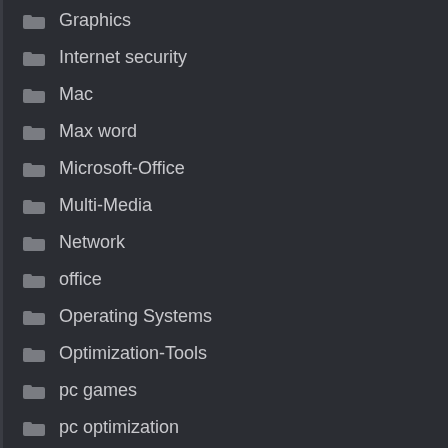Graphics
Internet security
Mac
Max word
Microsoft-Office
Multi-Media
Network
office
Operating Systems
Optimization-Tools
pc games
pc optimization
pDF
Recorder
Recovery